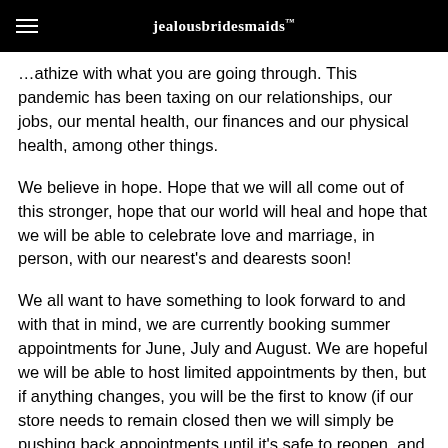jealousbridesmaids™
…athize with what you are going through. This pandemic has been taxing on our relationships, our jobs, our mental health, our finances and our physical health, among other things.
We believe in hope. Hope that we will all come out of this stronger, hope that our world will heal and hope that we will be able to celebrate love and marriage, in person, with our nearest's and dearests soon!
We all want to have something to look forward to and with that in mind, we are currently booking summer appointments for June, July and August. We are hopeful we will be able to host limited appointments by then, but if anything changes, you will be the first to know (if our store needs to remain closed then we will simply be pushing back appointments until it's safe to reopen, and once we do reopen, you will be the first in line!).
As we begin to book these appointments, we will also be increasing the steps we took to ensure safety prior to store closures. Some of those extra precautions and steps include